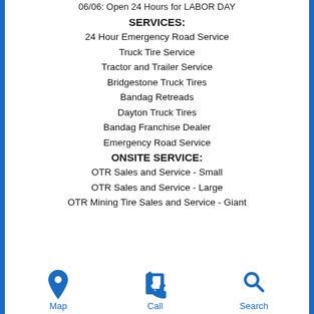06/06: Open 24 Hours for LABOR DAY
SERVICES:
24 Hour Emergency Road Service
Truck Tire Service
Tractor and Trailer Service
Bridgestone Truck Tires
Bandag Retreads
Dayton Truck Tires
Bandag Franchise Dealer
Emergency Road Service
ONSITE SERVICE:
OTR Sales and Service - Small
OTR Sales and Service - Large
OTR Mining Tire Sales and Service - Giant
[Figure (infographic): Three icons at the bottom: Map (location pin), Call (phone), Search (magnifying glass), each labeled in blue text]